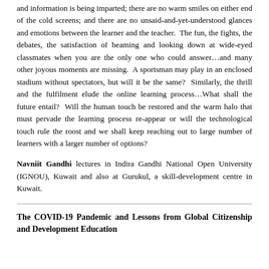and information is being imparted; there are no warm smiles on either end of the cold screens; and there are no unsaid-and-yet-understood glances and emotions between the learner and the teacher. The fun, the fights, the debates, the satisfaction of beaming and looking down at wide-eyed classmates when you are the only one who could answer…and many other joyous moments are missing. A sportsman may play in an enclosed stadium without spectators, but will it be the same? Similarly, the thrill and the fulfilment elude the online learning process…What shall the future entail? Will the human touch be restored and the warm halo that must pervade the learning process re-appear or will the technological touch rule the roost and we shall keep reaching out to large number of learners with a larger number of options?
Navniit Gandhi lectures in Indira Gandhi National Open University (IGNOU), Kuwait and also at Gurukul, a skill-development centre in Kuwait.
The COVID-19 Pandemic and Lessons from Global Citizenship and Development Education